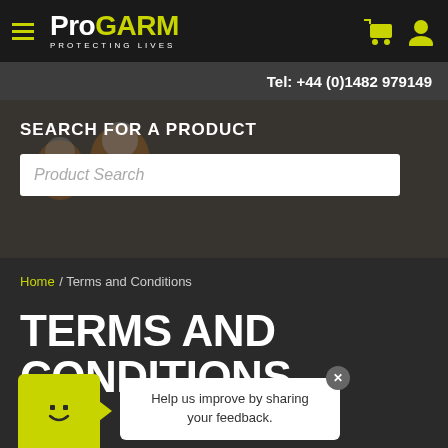ProGARM PROTECTING LIVES
Tel: +44 (0)1482 979149
SEARCH FOR A PRODUCT
Product Search
Home / Terms and Conditions
TERMS AND CONDITIONS
Help us improve by sharing your feedback.